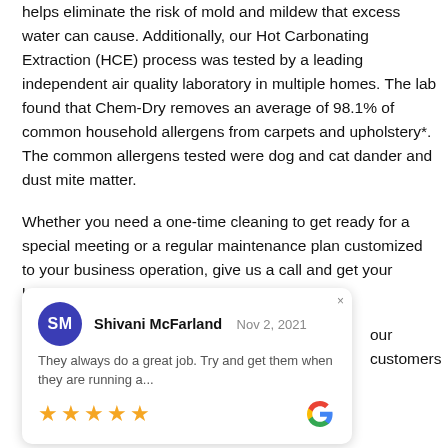helps eliminate the risk of mold and mildew that excess water can cause. Additionally, our Hot Carbonating Extraction (HCE) process was tested by a leading independent air quality laboratory in multiple homes. The lab found that Chem-Dry removes an average of 98.1% of common household allergens from carpets and upholstery*. The common allergens tested were dog and cat dander and dust mite matter.
Whether you need a one-time cleaning to get ready for a special meeting or a regular maintenance plan customized to your business operation, give us a call and get your business [our customers]
[Figure (other): Google review card for Shivani McFarland dated Nov 2, 2021, with 5 stars and text 'They always do a great job. Try and get them when they are running a...', Google logo shown]